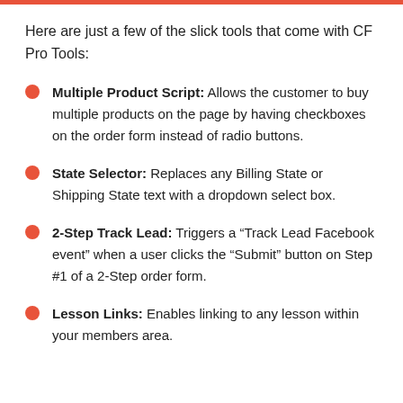Here are just a few of the slick tools that come with CF Pro Tools:
Multiple Product Script: Allows the customer to buy multiple products on the page by having checkboxes on the order form instead of radio buttons.
State Selector: Replaces any Billing State or Shipping State text with a dropdown select box.
2-Step Track Lead: Triggers a “Track Lead Facebook event” when a user clicks the “Submit” button on Step #1 of a 2-Step order form.
Lesson Links: Enables linking to any lesson within your members area.